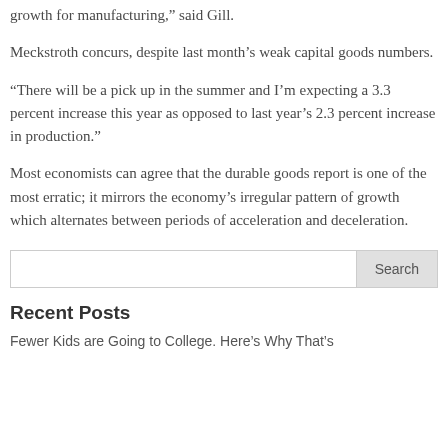growth for manufacturing,” said Gill.
Meckstroth concurs, despite last month’s weak capital goods numbers.
“There will be a pick up in the summer and I’m expecting a 3.3 percent increase this year as opposed to last year’s 2.3 percent increase in production.”
Most economists can agree that the durable goods report is one of the most erratic; it mirrors the economy’s irregular pattern of growth which alternates between periods of acceleration and deceleration.
Recent Posts
Fewer Kids are Going to College. Here’s Why That’s